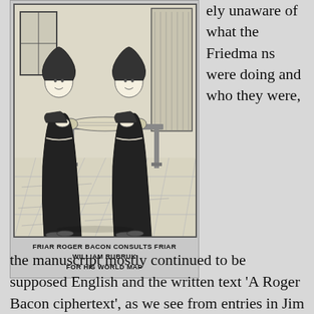[Figure (illustration): Black and white illustration of two friars in robes standing at a table, examining a large scroll or map. One friar is Friar Roger Bacon consulting Friar William Rubruk for his world map.]
FRIAR ROGER BACON CONSULTS FRIAR WILLIAM RUBRUK FOR HIS WORLD MAP
ely unaware of what the Friedmans were doing and who they were,
the manuscript mostly continued to be supposed English and the written text 'A Roger Bacon ciphertext', as we see from entries in Jim Reeds' 'Voynich Bibliography'.